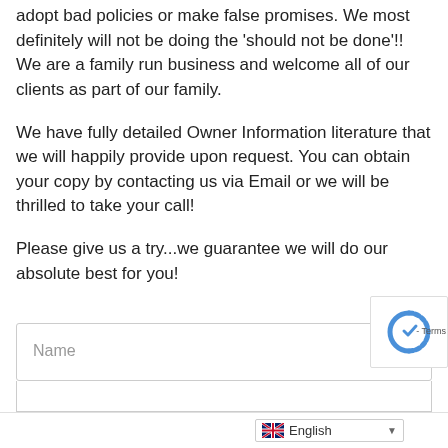adopt bad policies or make false promises. We most definitely will not be doing the 'should not be done'!! We are a family run business and welcome all of our clients as part of our family.
We have fully detailed Owner Information literature that we will happily provide upon request. You can obtain your copy by contacting us via Email or we will be thrilled to take your call!
Please give us a try...we guarantee we will do our absolute best for you!